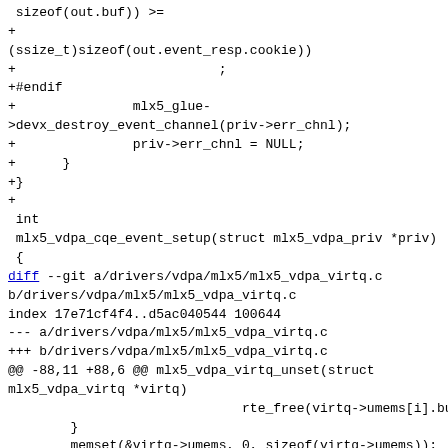sizeof(out.buf)) >=
+
(ssize_t)sizeof(out.event_resp.cookie))
+                          ;
+#endif
+               mlx5_glue->devx_destroy_event_channel(priv->err_chnl);
+               priv->err_chnl = NULL;
+      }
+}
+
 int
 mlx5_vdpa_cqe_event_setup(struct mlx5_vdpa_priv *priv)
 {
diff --git a/drivers/vdpa/mlx5/mlx5_vdpa_virtq.c b/drivers/vdpa/mlx5/mlx5_vdpa_virtq.c
index 17e71cf4f4..d5ac040544 100644
--- a/drivers/vdpa/mlx5/mlx5_vdpa_virtq.c
+++ b/drivers/vdpa/mlx5/mlx5_vdpa_virtq.c
@@ -88,11 +88,6 @@ mlx5_vdpa_virtq_unset(struct mlx5_vdpa_virtq *virtq)
                              rte_free(virtq->umems[i].buf);
        }
        memset(&virtq->umems, 0, sizeof(virtq->umems));
-       if (virtq->counters) {
-               claim_zero(mlx5_devx_cmd_destroy(virtq->counters));
-               virtq->counters = NULL;
-      }
-      memset(&virtq->reset, 0, sizeof(virtq->reset));